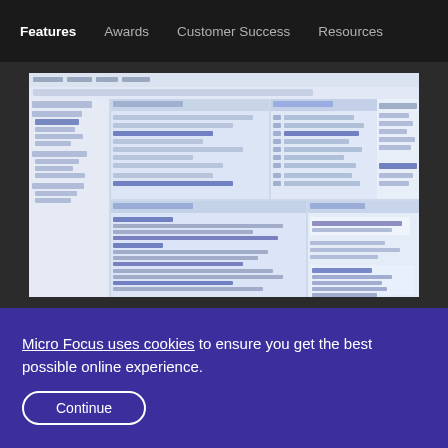Features  Awards  Customer Success  Resources
[Figure (screenshot): Screenshot of a software IDE or development environment showing multiple panels with code, file tree on the left, and various dialog/editor panes]
Micro Focus uses cookies to ensure you get the best possible online experience.
Continue